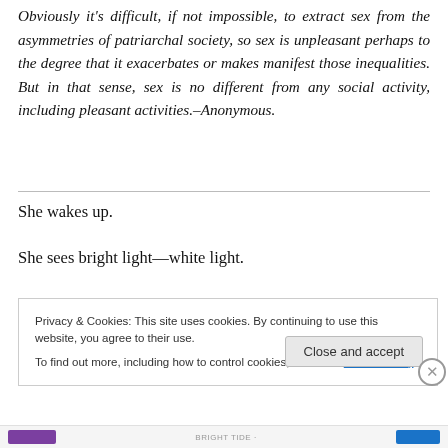Obviously it's difficult, if not impossible, to extract sex from the asymmetries of patriarchal society, so sex is unpleasant perhaps to the degree that it exacerbates or makes manifest those inequalities. But in that sense, sex is no different from any social activity, including pleasant activities.–Anonymous.
She wakes up.
She sees bright light—white light.
Privacy & Cookies: This site uses cookies. By continuing to use this website, you agree to their use.
To find out more, including how to control cookies, see here: Cookie Policy
Close and accept